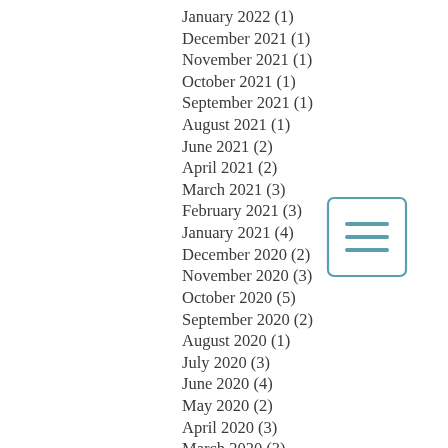January 2022 (1)
December 2021 (1)
November 2021 (1)
October 2021 (1)
September 2021 (1)
August 2021 (1)
June 2021 (2)
April 2021 (2)
March 2021 (3)
February 2021 (3)
January 2021 (4)
December 2020 (2)
November 2020 (3)
October 2020 (5)
September 2020 (2)
August 2020 (1)
July 2020 (3)
June 2020 (4)
May 2020 (2)
April 2020 (3)
March 2020 (3)
February 2020 (2)
[Figure (other): Hamburger menu icon: three horizontal lines inside a rounded rectangle border in teal/blue color]